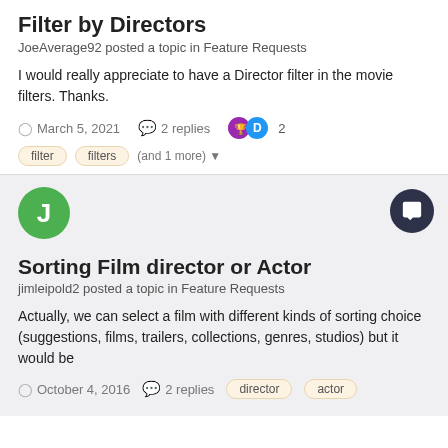Filter by Directors
JoeAverage92 posted a topic in Feature Requests
I would really appreciate to have a Director filter in the movie filters. Thanks.
March 5, 2021   2 replies   2
filter   filters   (and 1 more)
Sorting Film director or Actor
jimleipold2 posted a topic in Feature Requests
Actually, we can select a film with different kinds of sorting choice (suggestions, films, trailers, collections, genres, studios) but it would be
October 4, 2016   2 replies   director   actor